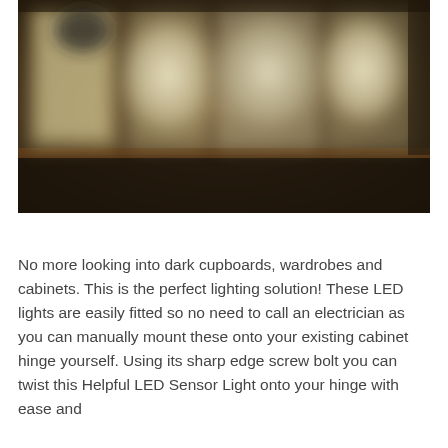[Figure (photo): Blurred interior photograph showing illuminated kitchen or wardrobe cabinets with warm light glowing behind frosted/glass cabinet doors, set against a dark background]
No more looking into dark cupboards, wardrobes and cabinets. This is the perfect lighting solution! These LED lights are easily fitted so no need to call an electrician as you can manually mount these onto your existing cabinet hinge yourself. Using its sharp edge screw bolt you can twist this Helpful LED Sensor Light onto your hinge with ease and